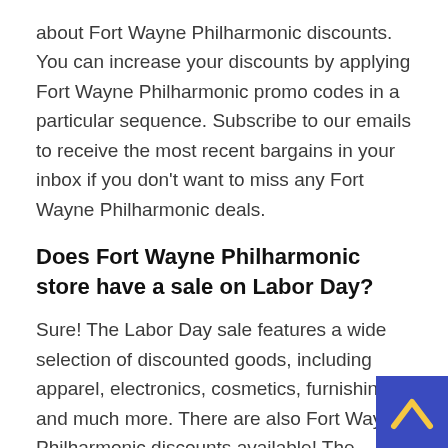about Fort Wayne Philharmonic discounts. You can increase your discounts by applying Fort Wayne Philharmonic promo codes in a particular sequence. Subscribe to our emails to receive the most recent bargains in your inbox if you don't want to miss any Fort Wayne Philharmonic deals.
Does Fort Wayne Philharmonic store have a sale on Labor Day?
Sure! The Labor Day sale features a wide selection of discounted goods, including apparel, electronics, cosmetics, furnishings, and much more. There are also Fort Wayne Philharmonic discounts available! The massive discount will continue till the day's end. Don't pass up Labor Day savings for Fort Wayne Philharmonics! There are plenty excellent sales to match anything you want to purchase on Labor Day Sale. View the Fort Wayne Philharmonic specials right away! Unless otherwise stated, the majority